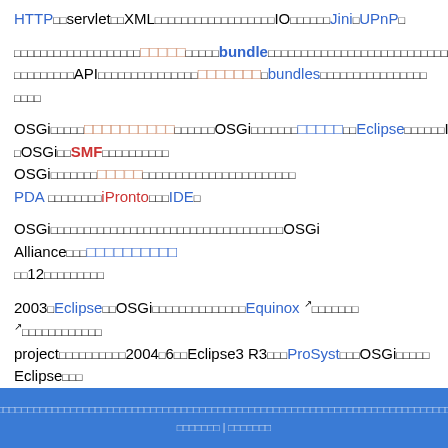HTTP、servlet、XML、などのサービスの他にも，IO関連のJini, UPnP。
このフレームワークではコンテナのような役割を持ったbundleという形でJavaのクラスをAPIとして提供しており、コンポーネントのbundlesを複数組み合わせることで
OSGiの実装は企業が独自にOSGiをベースにしてEclipseをはじめIBMのOSGiにSMFを実装したもの。 OSGiの採用例として業務用のPDA からiProntoまでIDE。
OSGiに使用されているオブジェクト機能のような役割を行うOSGi Allianceのメンバーはの12社ほどに過ぎなかった。
2003年EclipseがOSGiをコアに採用したことでEquinox のproject となりました。2004年6月にEclipse3 R3からProSystのOSGiにしてEclipse採用。
プライバシーポリシー　Wikipediaについて　免責事項　お問い合わせ　デスクトップ